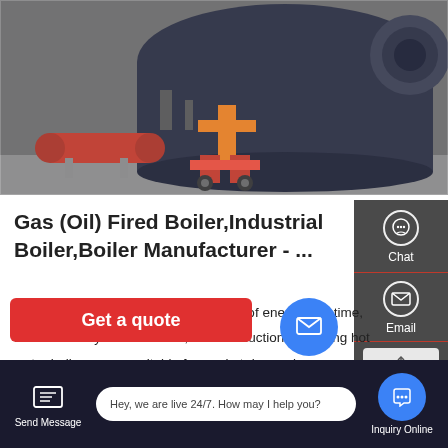[Figure (photo): Industrial boiler manufacturing facility showing large cylindrical boiler tank in dark blue, a smaller red horizontal tank, and an orange burner/valve assembly on concrete floor inside a workshop]
Gas (Oil) Fired Boiler,Industrial Boiler,Boiler Manufacturer - ...
Over the years, we have invested a lot of energy and time, and constantly trial and error, the introduction of heating hot water boilers, more suitable for market demand. Continuously and stably transporting hot water, safe and risk-free, and reasonable maintenance